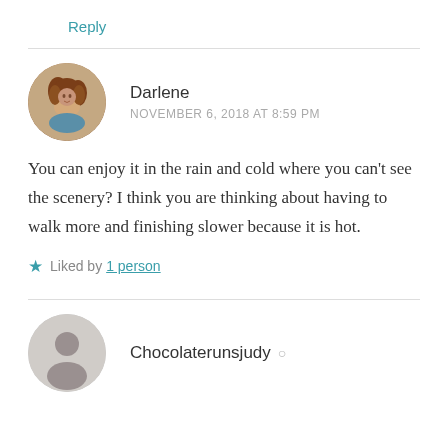Reply
Darlene
NOVEMBER 6, 2018 AT 8:59 PM
You can enjoy it in the rain and cold where you can't see the scenery? I think you are thinking about having to walk more and finishing slower because it is hot.
Liked by 1 person
Chocolaterunsjudy